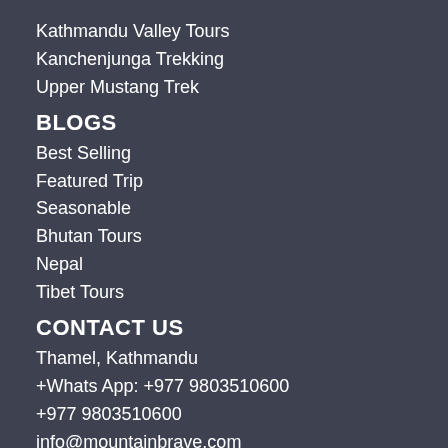Kathmandu Valley Tours
Kanchenjunga Trekking
Upper Mustang Trek
BLOGS
Best Selling
Featured Trip
Seasonable
Bhutan Tours
Nepal
Tibet Tours
CONTACT US
Thamel, Kathmandu
+Whats App: +977 9803510600
+977 9803510600
info@mountainbrave.com
www.mountainbrave.com